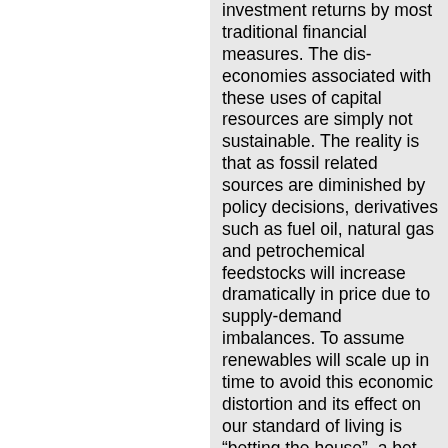investment returns by most traditional financial measures. The dis-economies associated with these uses of capital resources are simply not sustainable. The reality is that as fossil related sources are diminished by policy decisions, derivatives such as fuel oil, natural gas and petrochemical feedstocks will increase dramatically in price due to supply-demand imbalances. To assume renewables will scale up in time to avoid this economic distortion and its effect on our standard of living is “betting the house”, a bet that we need not make at this juncture without immediate consideration to a few under-promoted alternatives, one of which is in-hand today. In this context, I strongly